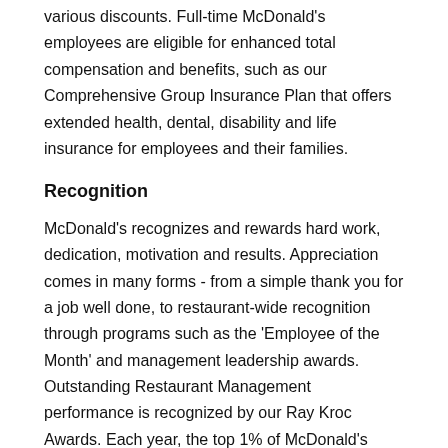various discounts. Full-time McDonald's employees are eligible for enhanced total compensation and benefits, such as our Comprehensive Group Insurance Plan that offers extended health, dental, disability and life insurance for employees and their families.
Recognition
McDonald's recognizes and rewards hard work, dedication, motivation and results. Appreciation comes in many forms - from a simple thank you for a job well done, to restaurant-wide recognition through programs such as the 'Employee of the Month' and management leadership awards. Outstanding Restaurant Management performance is recognized by our Ray Kroc Awards. Each year, the top 1% of McDonald's Restaurant Managers are honored with this award, which recognizes their passion for excellence.